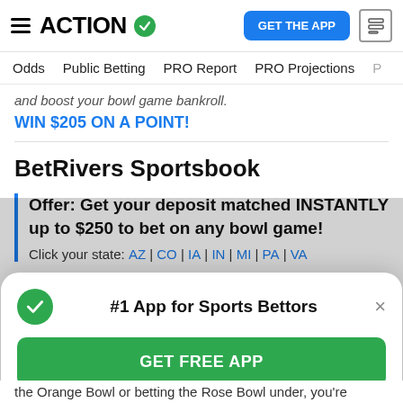ACTION — GET THE APP
Odds | Public Betting | PRO Report | PRO Projections
and boost your bowl game bankroll.
WIN $205 ON A POINT!
BetRivers Sportsbook
Offer: Get your deposit matched INSTANTLY up to $250 to bet on any bowl game!
Click your state: AZ | CO | IA | IN | MI | PA | VA
[Figure (screenshot): Modal popup: #1 App for Sports Bettors with GET FREE APP green button]
the Orange Bowl or betting the Rose Bowl under, you're